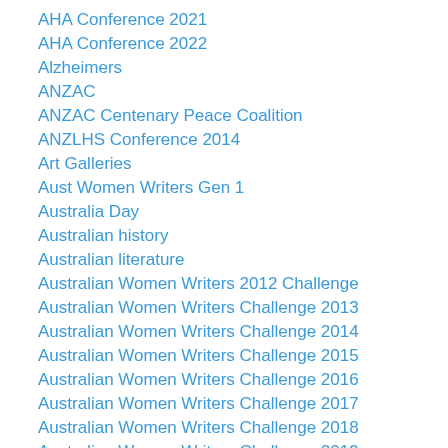AHA Conference 2021
AHA Conference 2022
Alzheimers
ANZAC
ANZAC Centenary Peace Coalition
ANZLHS Conference 2014
Art Galleries
Aust Women Writers Gen 1
Australia Day
Australian history
Australian literature
Australian Women Writers 2012 Challenge
Australian Women Writers Challenge 2013
Australian Women Writers Challenge 2014
Australian Women Writers Challenge 2015
Australian Women Writers Challenge 2016
Australian Women Writers Challenge 2017
Australian Women Writers Challenge 2018
Australian Women Writers Challenge 2019
Australian Women Writers Challenge 2020